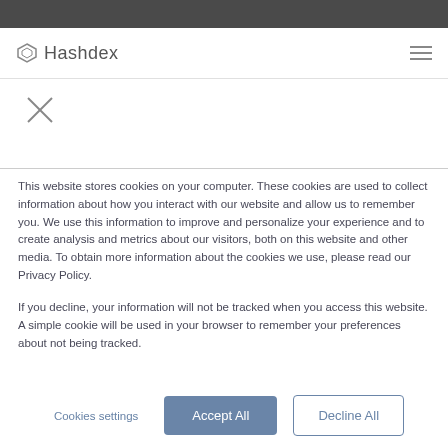Hashdex
[Figure (other): X close button icon]
This website stores cookies on your computer. These cookies are used to collect information about how you interact with our website and allow us to remember you. We use this information to improve and personalize your experience and to create analysis and metrics about our visitors, both on this website and other media. To obtain more information about the cookies we use, please read our Privacy Policy.
If you decline, your information will not be tracked when you access this website. A simple cookie will be used in your browser to remember your preferences about not being tracked.
Cookies settings   Accept All   Decline All